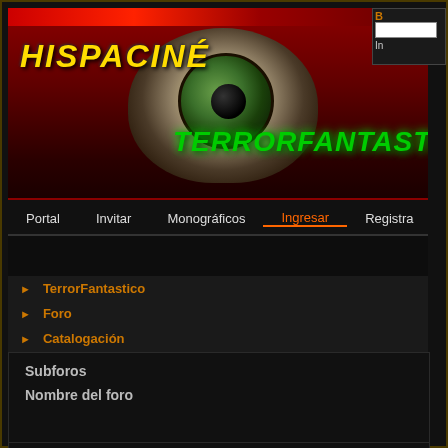[Figure (screenshot): HispaciNe TerrorFantastico website header banner with red gradient background, eyeball graphic, yellow italic HISPACINE logo text, and green TerrorFantastico title text]
Portal  Invitar  Monográficos  Ingresar  Registrar
TerrorFantastico
Foro
Catalogación
TerrorFantastico
Sueños/ Pesadillas/ Surrealistas
Subforos
Nombre del foro
Search this Forum